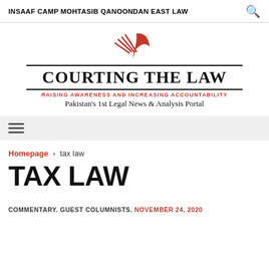INSAAF CAMP  MOHTASIB  QANOONDAN  EAST LAW
[Figure (logo): Courting the Law logo: crossed quill and gavel icon in red above the site name]
RAISING AWARENESS AND INCREASING ACCOUNTABILITY
Pakistan's 1st Legal News & Analysis Portal
Homepage › tax law
TAX LAW
COMMENTARY. GUEST COLUMNISTS. NOVEMBER 24, 2020